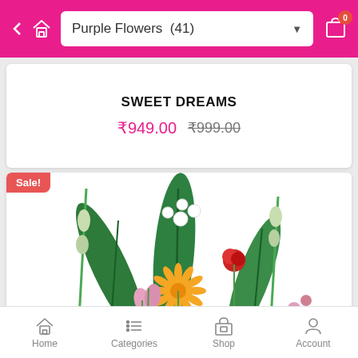Purple Flowers (41)
SWEET DREAMS
₹949.00 ₹999.00
[Figure (photo): A flower bouquet arrangement featuring green tropical leaves, white tuberose, orange gerbera, red carnations, pink alstroemeria, and gladiolus stems on white background. Tagged with 'Sale!' badge.]
Home  Categories  Shop  Account